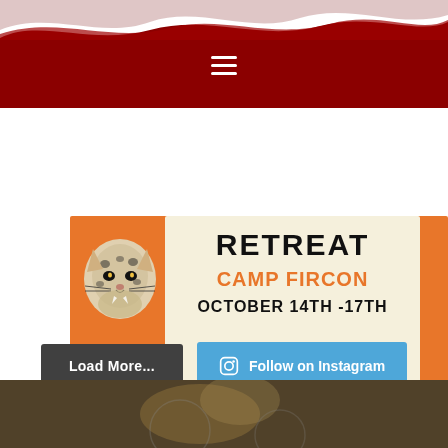[Figure (illustration): Decorative wave pattern in dark red and pink at top of page, website header with hamburger menu icon on dark red bar]
[Figure (infographic): Camp retreat poster on orange background: leopard illustration on left, cream text box with 'RETREAT', 'CAMP FIRCON', 'OCTOBER 14TH-17TH', tagline 'JOIN US FOR A WEEKEND OF REVIVAL OF THE SPIRIT.']
Load More...
Follow on Instagram
[Figure (photo): Dark warm-toned photo strip at bottom showing blurred outdoor scene]